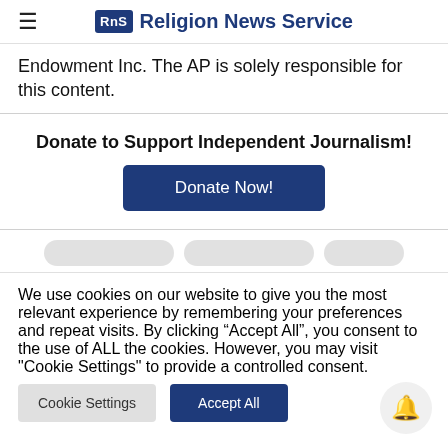RNS Religion News Service
Endowment Inc. The AP is solely responsible for this content.
Donate to Support Independent Journalism!
[Figure (other): Blue 'Donate Now!' button]
[Figure (other): Social sharing pill buttons row (partially visible, blurred)]
We use cookies on our website to give you the most relevant experience by remembering your preferences and repeat visits. By clicking "Accept All", you consent to the use of ALL the cookies. However, you may visit "Cookie Settings" to provide a controlled consent.
[Figure (other): Cookie Settings button and Accept All button, with bell notification circle icon]